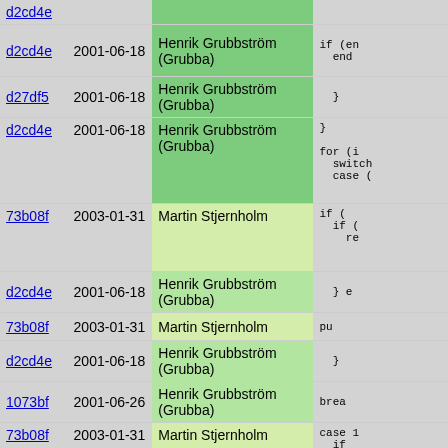| hash | date | author | code |
| --- | --- | --- | --- |
| d2cd4e | 2001-06-18 | Henrik Grubbström (Grubba) | if (en
  end |
| d27df5 | 2001-06-18 | Henrik Grubbström (Grubba) | } |
| d2cd4e | 2001-06-18 | Henrik Grubbström (Grubba) | }

for (i 
  switch
  case ( |
| 73b08f | 2003-01-31 | Martin Stjernholm | if (
  if (
    re |
| d2cd4e | 2001-06-18 | Henrik Grubbström (Grubba) | } e |
| 73b08f | 2003-01-31 | Martin Stjernholm | pu |
| d2cd4e | 2001-06-18 | Henrik Grubbström (Grubba) | } |
| 1073bf | 2001-06-26 | Henrik Grubbström (Grubba) | brea |
| 73b08f | 2003-01-31 | Martin Stjernholm | case 1
  if 
  pus
  brea |
| d2cd4e | 2001-06-18 | Henrik Grubbström (Grubba) | case 2 |
| 0f47db | 2001-06-19 | Henrik Grubbström (Grubba) | push |